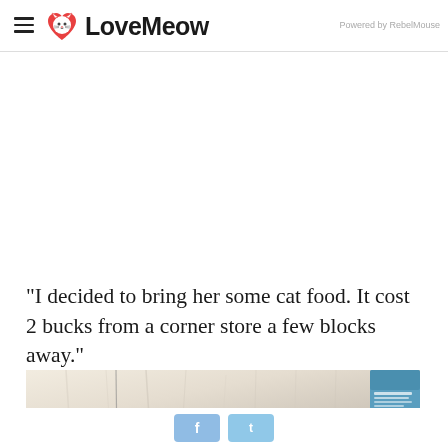LoveMeow — Powered by RebelMouse
"I decided to bring her some cat food. It cost 2 bucks from a corner store a few blocks away."
[Figure (photo): Close-up photo of a fluffy white/cream cat lying down, with a cat food box visible in the upper right corner]
f  t (Facebook and Twitter share buttons)